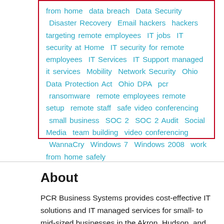from home data breach Data Security Disaster Recovery Email hackers hackers targeting remote employees IT jobs IT security at Home IT security for remote employees IT Services IT Support managed it services Mobility Network Security Ohio Data Protection Act Ohio DPA pcr ransomware remote employees remote setup remote staff safe video conferencing small business SOC 2 SOC 2 Audit Social Media team building video conferencing WannaCry Windows 7 Windows 2008 work from home safely
About
PCR Business Systems provides cost-effective IT solutions and IT managed services for small- to mid-sized businesses in the Akron, Hudson, and Cleveland, OH, areas. We know local and regional companies have